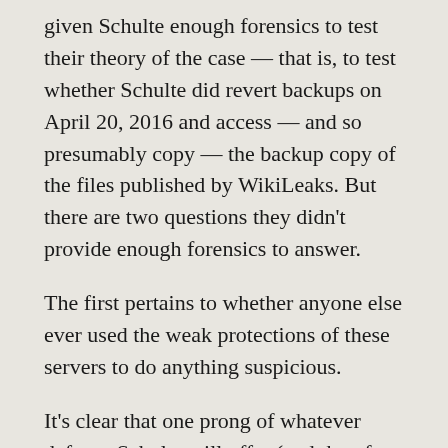given Schulte enough forensics to test their theory of the case — that is, to test whether Schulte did revert backups on April 20, 2016 and access — and so presumably copy — the backup copy of the files published by WikiLeaks. But there are two questions they didn't provide enough forensics to answer.
The first pertains to whether anyone else ever used the weak protections of these servers to do anything suspicious.
It's clear that one prong of whatever defense Schulte will offer (and therefore what Bellovin will do in his testimony) is that CIA's security was woefully inadequate, both in their physical space (Schulte was able to bring in thumb drives on at least two occasions and, the prosecution's case